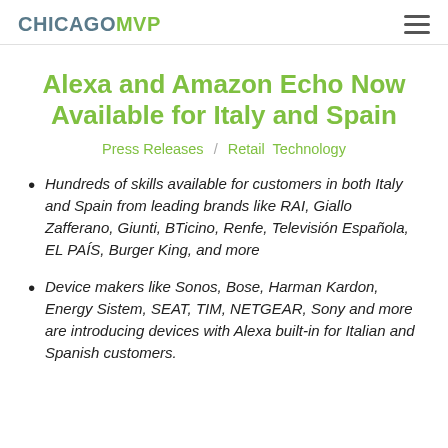CHICAGOMVP
Alexa and Amazon Echo Now Available for Italy and Spain
Press Releases / Retail Technology
Hundreds of skills available for customers in both Italy and Spain from leading brands like RAI, Giallo Zafferano, Giunti, BTicino, Renfe, Televisión Española, EL PAÍS, Burger King, and more
Device makers like Sonos, Bose, Harman Kardon, Energy Sistem, SEAT, TIM, NETGEAR, Sony and more are introducing devices with Alexa built-in for Italian and Spanish customers.